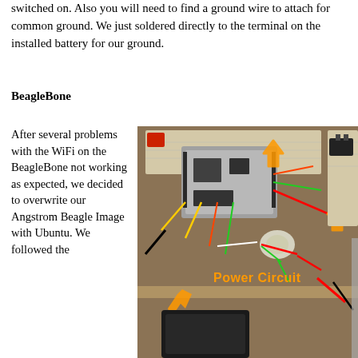switched on. Also you will need to find a ground wire to attach for common ground. We just soldered directly to the terminal on the installed battery for our ground.
BeagleBone
After several problems with the WiFi on the BeagleBone not working as expected, we decided to overwrite our Angstrom Beagle Image with Ubuntu. We followed the
[Figure (photo): Photo of electronic components on a workbench including a BeagleBone board on a breadboard with various wires, a power circuit with LED and connections, and a battery/power supply. Orange arrows and text 'Power Circuit' annotation overlay on the image.]